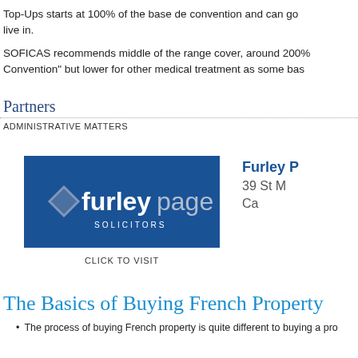Top-Ups starts at 100% of the base de convention and can go live in.
SOFICAS recommends middle of the range cover, around 200% Convention" but lower for other medical treatment as some bas
Partners
ADMINISTRATIVE MATTERS
[Figure (logo): Furley Page Solicitors logo - blue rectangle with diamond icon and text]
CLICK TO VISIT
Furley P
39 St M
Ca
The Basics of Buying French Property
The process of buying French property is quite different to buying a pro